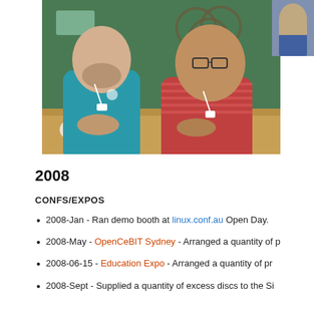[Figure (photo): Two men sitting at a wooden table in front of a green wall with barrel decorations. The man on the left wears a teal/blue polo shirt with a conference lanyard. The man on the right wears a red striped shirt with a conference lanyard. A smaller photo is partially visible in the top-right corner.]
2008
CONFS/EXPOS
2008-Jan - Ran demo booth at linux.conf.au Open Day.
2008-May - OpenCeBIT Sydney - Arranged a quantity of p
2008-06-15 - Education Expo - Arranged a quantity of pr
2008-Sept - Supplied a quantity of excess discs to the Si